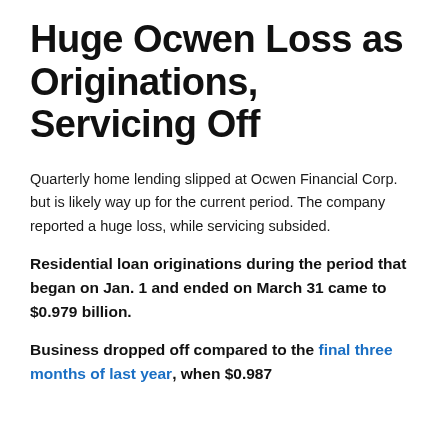Huge Ocwen Loss as Originations, Servicing Off
Quarterly home lending slipped at Ocwen Financial Corp. but is likely way up for the current period. The company reported a huge loss, while servicing subsided.
Residential loan originations during the period that began on Jan. 1 and ended on March 31 came to $0.979 billion.
Business dropped off compared to the final three months of last year, when $0.987